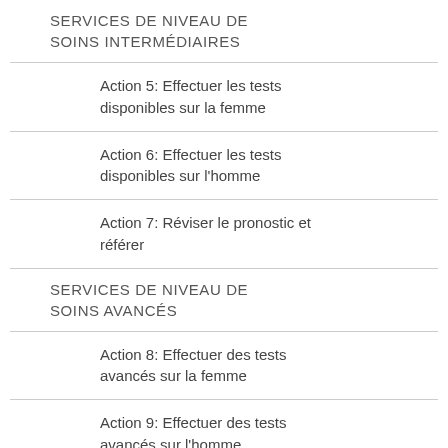SERVICES DE NIVEAU DE SOINS INTERMÉDIAIRES
Action 5: Effectuer les tests disponibles sur la femme
Action 6: Effectuer les tests disponibles sur l'homme
Action 7: Réviser le pronostic et référer
SERVICES DE NIVEAU DE SOINS AVANCÉS
Action 8: Effectuer des tests avancés sur la femme
Action 9: Effectuer des tests avancés sur l'homme